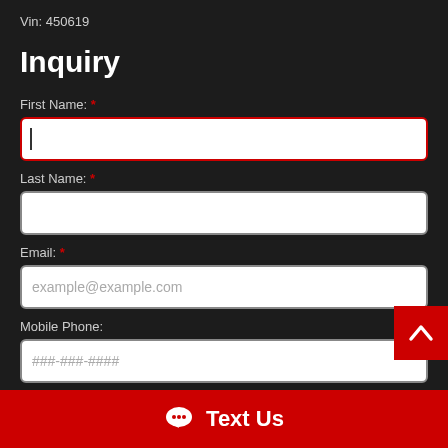Vin: 450619
Inquiry
First Name: *
Last Name: *
Email: *
Mobile Phone:
Home Phone:
Text Us